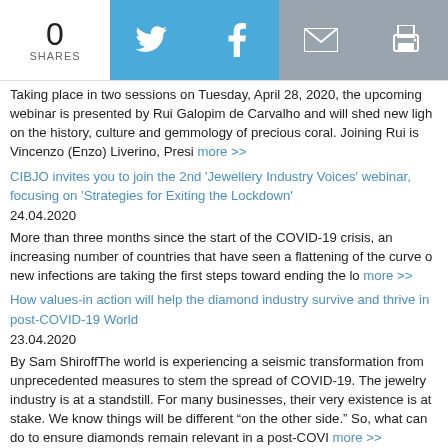[Figure (infographic): Social share bar with 0 shares count, Twitter, Facebook, email, and print buttons]
Taking place in two sessions on Tuesday, April 28, 2020, the upcoming webinar is presented by Rui Galopim de Carvalho and will shed new light on the history, culture and gemmology of precious coral. Joining Rui is Vincenzo (Enzo) Liverino, Presi more >>
CIBJO invites you to join the 2nd 'Jewellery Industry Voices' webinar, focusing on 'Strategies for Exiting the Lockdown'
24.04.2020
More than three months since the start of the COVID-19 crisis, an increasing number of countries that have seen a flattening of the curve of new infections are taking the first steps toward ending the lo more >>
How values-in action will help the diamond industry survive and thrive in post-COVID-19 World
23.04.2020
By Sam ShiroffThe world is experiencing a seismic transformation from unprecedented measures to stem the spread of COVID-19. The jewelry industry is at a standstill. For many businesses, their very existence is at stake. We know things will be different “on the other side.” So, what can do to ensure diamonds remain relevant in a post-COVI more >>
CIBJO invites you to join the 11th Home Gemmology webinar, providing brief look at diamonds
22.04.2020
Taking place in two sessions on Friday, April 24, 2020, the upcoming webinar is presented by Rui Galopim de Carvalho and will provide a brie